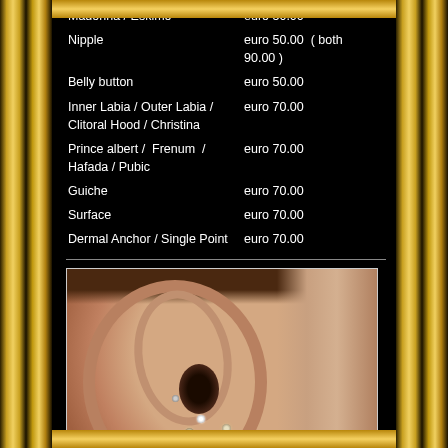| Service | Price |
| --- | --- |
| Madonna / Eskimo | euro 50.00 |
| Nipple | euro 50.00  ( both 90.00 ) |
| Belly button | euro 50.00 |
| Inner Labia / Outer Labia / Clitoral Hood / Christina | euro 70.00 |
| Prince albert /  Frenum  / Hafada / Pubic | euro 70.00 |
| Guiche | euro 70.00 |
| Surface | euro 70.00 |
| Dermal Anchor / Single Point | euro 70.00 |
[Figure (photo): Close-up photograph of a human ear with multiple piercings including tragus, helix, and lobe studs on a person with light skin and brown hair.]